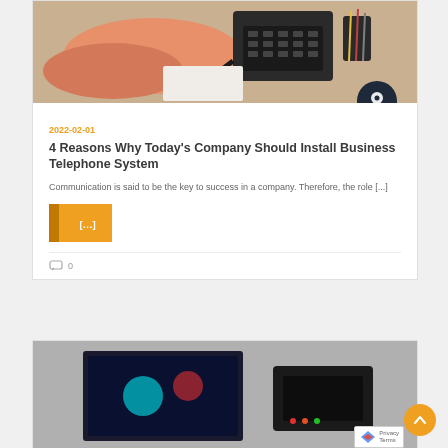[Figure (photo): Photo of a person using a business telephone on a desk, with papers and office items visible]
2022-02-01
4 Reasons Why Today's Company Should Install Business Telephone System
Communication is said to be the key to success in a company. Therefore, the role [...]
[...]
0
[Figure (photo): Partial view of a second article card with technology-related image]